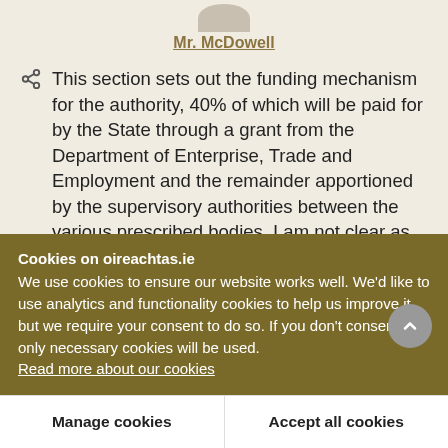Mr. McDowell
This section sets out the funding mechanism for the authority, 40% of which will be paid for by the State through a grant from the Department of Enterprise, Trade and Employment and the remainder apportioned by the supervisory authorities between the various prescribed bodies. I am not clear as to the distinction between that
Cookies on oireachtas.ie
We use cookies to ensure our website works well. We'd like to use analytics and functionality cookies to help us improve it but we require your consent to do so. If you don't consent, only necessary cookies will be used.
Read more about our cookies
Manage cookies
Accept all cookies